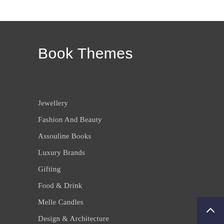Book Themes
Jewellery
Fashion And Beauty
Assouline Books
Luxury Brands
Gifting
Food & Drink
Melle Candles
Design & Architecture